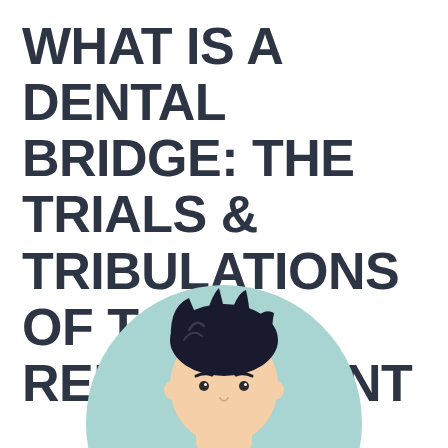WHAT IS A DENTAL BRIDGE: THE TRIALS & TRIBULATIONS OF TOOTH REPLACEMENT
[Figure (illustration): Cartoon illustration of a young man's head and face against a light teal/mint circular background. The character has dark spiky hair, simple facial features with dot eyes and a small nose, and a light skin tone. The illustration is cropped at the bottom of the page showing only the head and upper face area.]